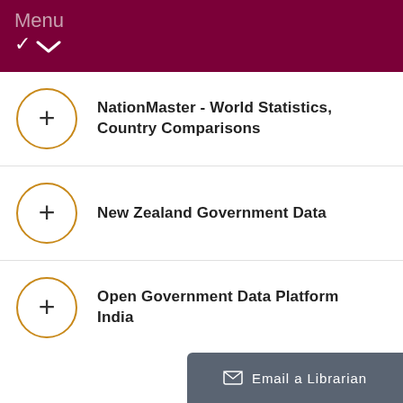Menu
NationMaster - World Statistics, Country Comparisons
New Zealand Government Data
Open Government Data Platform India
Email a Librarian